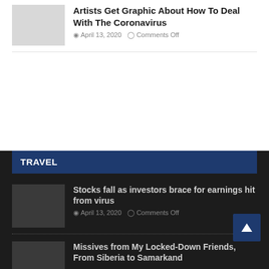Artists Get Graphic About How To Deal With The Coronavirus
April 13, 2020   Comments Off
[Figure (photo): Thumbnail image placeholder for article about artists and coronavirus]
TRAVEL
Stocks fall as investors brace for earnings hit from virus
April 13, 2020   Comments Off
[Figure (photo): Thumbnail image placeholder for stocks article]
Missives from My Locked-Down Friends, From Siberia to Samarkand
[Figure (photo): Thumbnail image placeholder for Missives article]